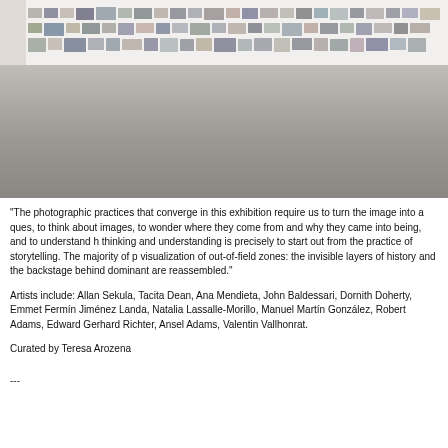[Figure (photo): Gallery interior showing a long white wall covered with many small photographs arranged in rows, with a grey concrete floor in the foreground.]
"The photographic practices that converge in this exhibition require us to turn the image into a question, to think about images, to wonder where they come from and why they came into being, and to understand how to start thinking and understanding is precisely to start out from the practice of storytelling. The majority of projects work on visualization of out-of-field zones: the invisible layers of history and the backstage behind dominant images that are reassembled."
Artists include: Allan Sekula, Tacita Dean, Ana Mendieta, John Baldessari, Dornith Doherty, Emmett, Fermín Jiménez Landa, Natalia Lassalle-Morillo, Manuel Martín González, Robert Adams, Edward, Gerhard Richter, Ansel Adams, Valentin Vallhonrat.
Curated by Teresa Arozena
---